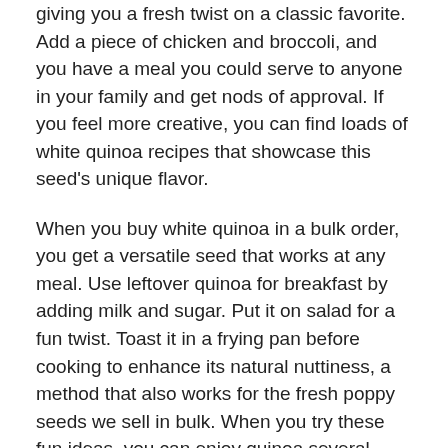giving you a fresh twist on a classic favorite. Add a piece of chicken and broccoli, and you have a meal you could serve to anyone in your family and get nods of approval. If you feel more creative, you can find loads of white quinoa recipes that showcase this seed's unique flavor.
When you buy white quinoa in a bulk order, you get a versatile seed that works at any meal. Use leftover quinoa for breakfast by adding milk and sugar. Put it on salad for a fun twist. Toast it in a frying pan before cooking to enhance its natural nuttiness, a method that also works for the fresh poppy seeds we sell in bulk. When you try these fun ideas, you can enjoy quinoa several times a week.
Quinoa Seeds for Sale in Bulk at Great Prices for a 25-lb Bag